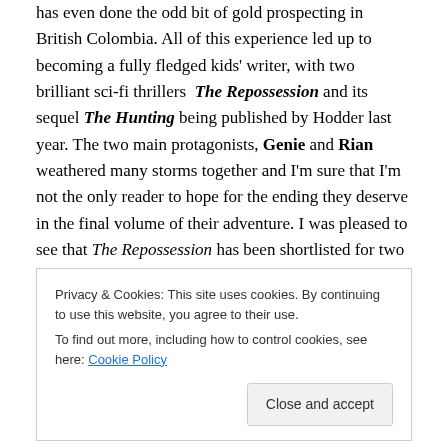has even done the odd bit of gold prospecting in British Colombia. All of this experience led up to becoming a fully fledged kids' writer, with two brilliant sci-fi thrillers The Repossession and its sequel The Hunting being published by Hodder last year. The two main protagonists, Genie and Rian weathered many storms together and I'm sure that I'm not the only reader to hope for the ending they deserve in the final volume of their adventure. I was pleased to see that The Repossession has been shortlisted for two book awards, The Leeds Book Awards
Privacy & Cookies: This site uses cookies. By continuing to use this website, you agree to their use. To find out more, including how to control cookies, see here: Cookie Policy
Sam has gone on to publish a time travel adventure this